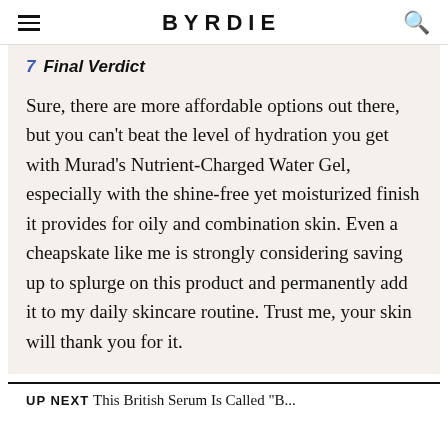BYRDIE
7 Final Verdict
Sure, there are more affordable options out there, but you can't beat the level of hydration you get with Murad's Nutrient-Charged Water Gel, especially with the shine-free yet moisturized finish it provides for oily and combination skin. Even a cheapskate like me is strongly considering saving up to splurge on this product and permanently add it to my daily skincare routine. Trust me, your skin will thank you for it.
UP NEXT: This British Serum Is Called "B...